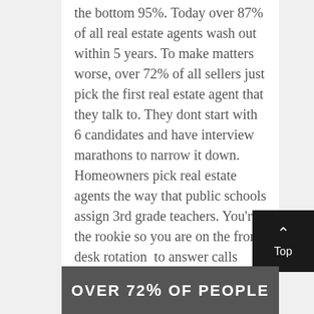the bottom 95%. Today over 87% of all real estate agents wash out within 5 years. To make matters worse, over 72% of all sellers just pick the first real estate agent that they talk to. They dont start with 6 candidates and have interview marathons to narrow it down. Homeowners pick real estate agents the way that public schools assign 3rd grade teachers. You're the rookie so you are on the front desk rotation  to answer calls coming in today. The next call in is yours and so is that lead.
[Figure (photo): Dark background image with white bold text reading 'OVER 72% OF PEOPLE']